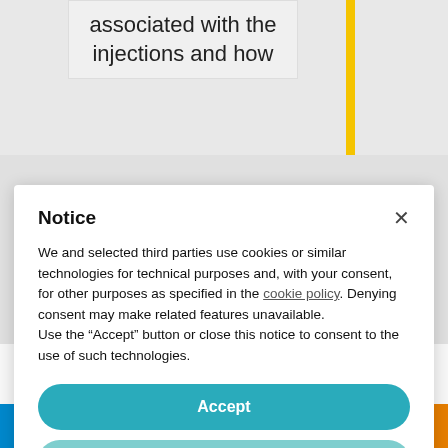associated with the injections and how
Notice
We and selected third parties use cookies or similar technologies for technical purposes and, with your consent, for other purposes as specified in the cookie policy. Denying consent may make related features unavailable.
Use the “Accept” button or close this notice to consent to the use of such technologies.
Accept
Learn more and customize
[Figure (logo): Unwrap logo in cursive red font]
[Figure (infographic): Social media share bar with icons for Telegram, Info, Goodreads, Twitter, Facebook, WhatsApp, Messenger, Print, Share]